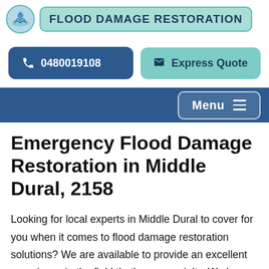[Figure (logo): Circular logo with water/flood imagery and brand name FLOOD DAMAGE RESTORATION in teal badge]
0480019108
Express Quote
Menu
Emergency Flood Damage Restoration in Middle Dural, 2158
Looking for local experts in Middle Dural to cover for you when it comes to flood damage restoration solutions? We are available to provide an excellent experience in the field that’s our specialty. We have